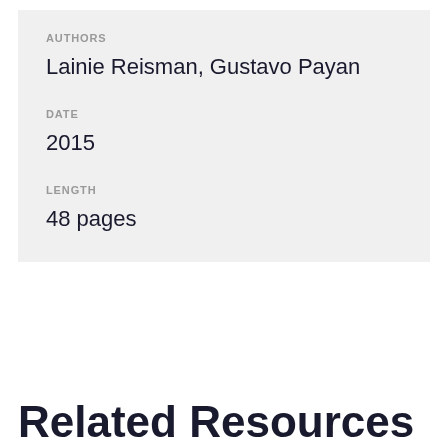AUTHORS
Lainie Reisman, Gustavo Payan
DATE
2015
LENGTH
48 pages
Related Resources